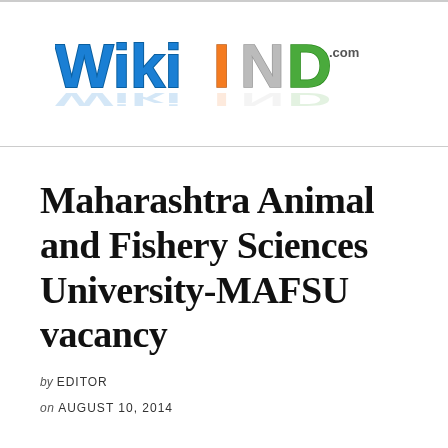[Figure (logo): WikiIND.com logo with 'Wiki' in blue bubbly letters and 'IND' in orange/green pixelated block letters, with '.com' in small text and a reflection below]
Maharashtra Animal and Fishery Sciences University-MAFSU vacancy
by EDITOR
on AUGUST 10, 2014